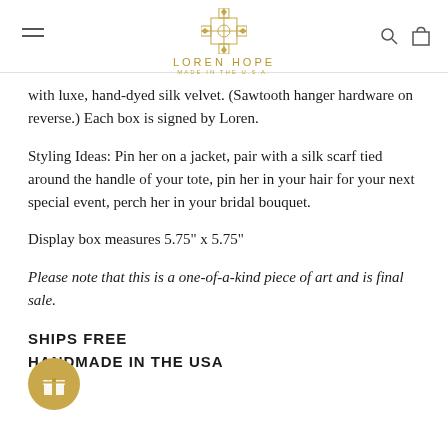LOREN HOPE
with luxe, hand-dyed silk velvet. (Sawtooth hanger hardware on reverse.) Each box is signed by Loren.
Styling Ideas: Pin her on a jacket, pair with a silk scarf tied around the handle of your tote, pin her in your hair for your next special event, perch her in your bridal bouquet.
Display box measures 5.75" x 5.75"
Please note that this is a one-of-a-kind piece of art and is final sale.
SHIPS FREE
HANDMADE IN THE USA